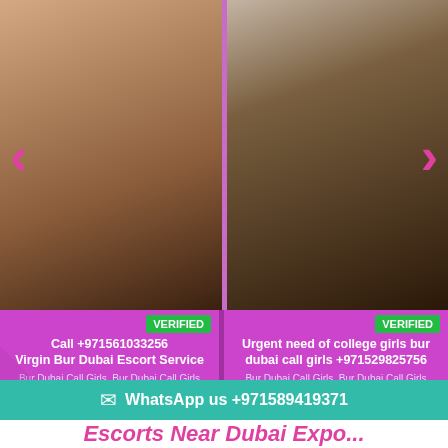[Figure (photo): Two photos side by side: left shows a woman in black outfit, right shows a woman in blue outfit, with pink navigation arrows]
VERIFIED
Call +97156103325​6
Virgin Bur Dubai Escort Service
Bur Dubai Call Girls, Bur Dubai Call Girls
VERIFIED
Urgent need of college girls bur dubai call girls +971529825756
Bur Dubai Call Girls, Bur Dubai Call Girls
WhatsApp us +971589419371
Escorts Near Dubai Expo...